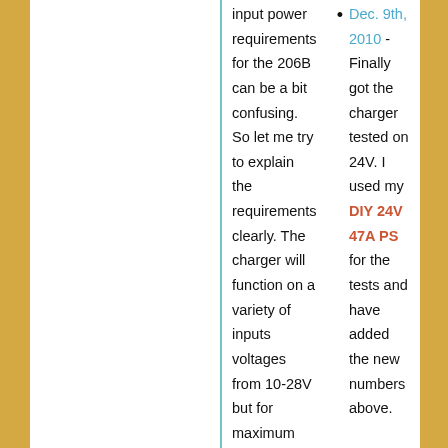input power requirements for the 206B can be a bit confusing. So let me try to explain the requirements clearly. The charger will function on a variety of inputs voltages from 10-28V but for maximum output an 18V input must be used. See the
Dec. 9th, 2010 - Finally got the charger tested on 24V. I used my DIY 24V 47A PS for the tests and have added the new numbers above.